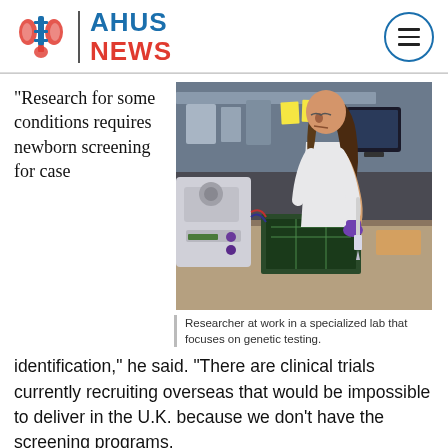AHUS NEWS
“Research for some conditions requires newborn screening for case
[Figure (photo): Researcher at work in a specialized lab, wearing a white lab coat and purple gloves, using a pipette at a workstation with laboratory equipment.]
Researcher at work in a specialized lab that focuses on genetic testing.
identification,” he said. “There are clinical trials currently recruiting overseas that would be impossible to deliver in the U.K. because we don’t have the screening programs.